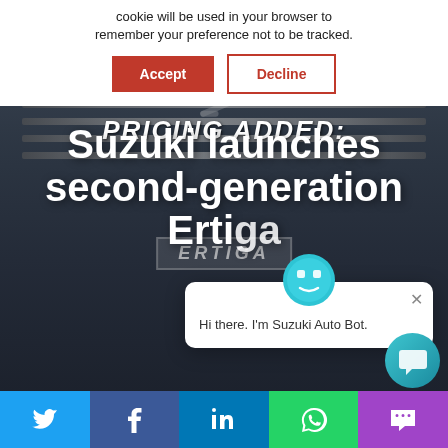cookie will be used in your browser to remember your preference not to be tracked.
Accept
Decline
PRICING ADDED: Suzuki launches second-generation Ertiga
[Figure (screenshot): Suzuki Ertiga front grille close-up photo as hero background with white headline text overlay]
Hi there. I'm Suzuki Auto Bot.
[Figure (infographic): Social media share bar with Twitter, Facebook, LinkedIn, WhatsApp, and SMS icons]